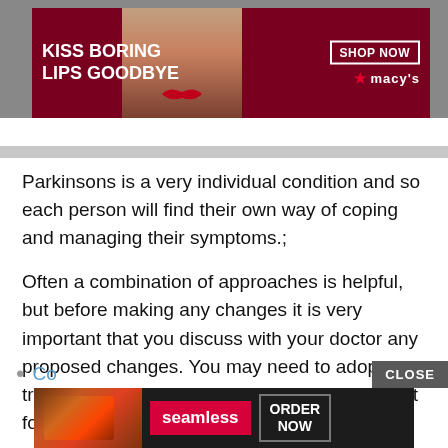[Figure (screenshot): Top advertisement banner: Macy's lipstick ad with text 'KISS BORING LIPS GOODBYE' and 'SHOP NOW' button with Macy's star logo, dark red background with model's face]
Parkinsons is a very individual condition and so each person will find their own way of coping and managing their symptoms.;
Often a combination of approaches is helpful, but before making any changes it is very important that you discuss with your doctor any proposed changes. You may need to adopt a trial and error approach to find what works best for you.;
Conventional and complementary treatments:
[Figure (screenshot): Bottom advertisement: Seamless food delivery ad with pizza image, Seamless logo in red, and ORDER NOW button]
Co...